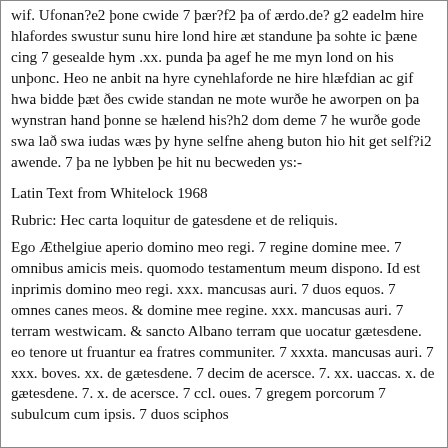wif. Ufonan?e2 þone cwide 7 þær?f2 þa of ærdo.de? g2 eadelm hire hlafordes swustur sunu hire lond hire æt standune þa sohte ic þæne cing 7 gesealde hym .xx. punda þa agef he me myn lond on his unþonc. Heo ne anbit na hyre cynehlaforde ne hire hlæfdian ac gif hwa bidde þæt ðes cwide standan ne mote wurðe he aworpen on þa wynstran hand þonne se hælend his?h2 dom deme 7 he wurðe gode swa lað swa iudas wæs þy hyne selfne aheng buton hio hit get self?i2 awende. 7 þa ne lybben þe hit nu becweden ys:-
Latin Text from Whitelock 1968
Rubric: Hec carta loquitur de gatesdene et de reliquis.
Ego Æthelgiue aperio domino meo regi. 7 regine domine mee. 7 omnibus amicis meis. quomodo testamentum meum dispono. Id est inprimis domino meo regi. xxx. mancusas auri. 7 duos equos. 7 omnes canes meos. & domine mee regine. xxx. mancusas auri. 7 terram westwicam. & sancto Albano terram que uocatur gætesdene. eo tenore ut fruantur ea fratres communiter. 7 xxxta. mancusas auri. 7 xxx. boves. xx. de gætesdene. 7 decim de acersce. 7. xx. uaccas. x. de gætesdene. 7. x. de acersce. 7 ccl. oues. 7 gregem porcorum 7 subulcum cum ipsis. 7 duos sciphos